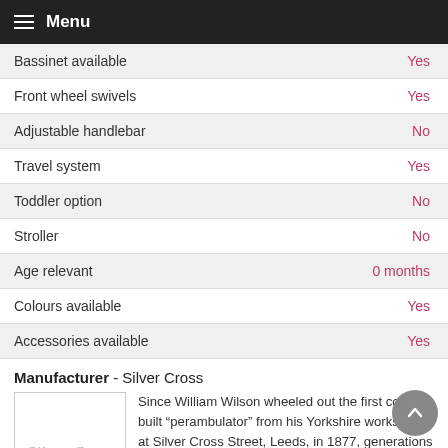Menu
| Feature | Value |
| --- | --- |
| Bassinet available | Yes |
| Front wheel swivels | Yes |
| Adjustable handlebar | No |
| Travel system | Yes |
| Toddler option | No |
| Stroller | No |
| Age relevant | 0 months |
| Colours available | Yes |
| Accessories available | Yes |
Manufacturer - Silver Cross
[Figure (logo): Silver Cross cursive logo in grey on white background with border]
Since William Wilson wheeled out the first coach-built “perambulator” from his Yorkshire workshop at Silver Cross Street, Leeds, in 1877, generations or parents have given their children a daily look at the world from prams and pushchairs bearing The Silver Cross logo. Today, the name Silver Cross still stands for all those principles that William Wilson would have held dear. There is the uncompromising Silver Cross quality